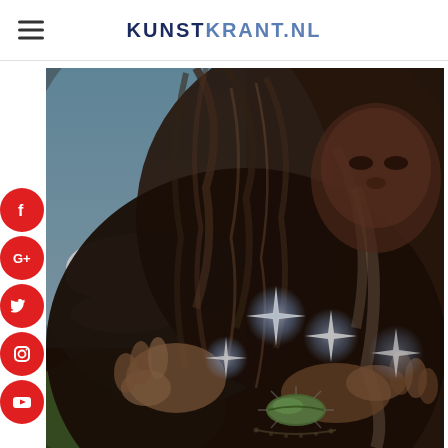KUNSTKRANT.NL
[Figure (photo): A detailed oil painting showing a bearded figure (possibly Jesus or a spiritual figure) embracing or holding something, with glowing star-like light effects, hands extended with sparkling energy, and a green seed or leaf-like object at the bottom center. Background shows clouds, blue sky, and green landscape on the left side. The figure's face is partially visible in the upper right with dark tones.]